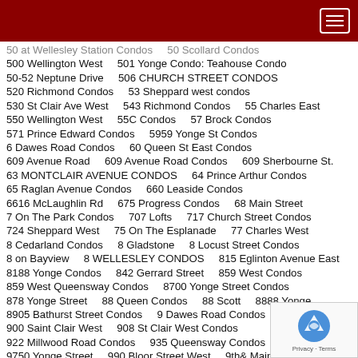50 at Wellesley Station Condos    50 Scollard Condos
500 Wellington West    501 Yonge Condo: Teahouse Condo
50-52 Neptune Drive    506 CHURCH STREET CONDOS
520 Richmond Condos    53 Sheppard west condos
530 St Clair Ave West    543 Richmond Condos    55 Charles East
550 Wellington West    55C Condos    57 Brock Condos
571 Prince Edward Condos    5959 Yonge St Condos
6 Dawes Road Condos    60 Queen St East Condos
609 Avenue Road    609 Avenue Road Condos    609 Sherbourne St.
63 MONTCLAIR AVENUE CONDOS    64 Prince Arthur Condos
65 Raglan Avenue Condos    660 Leaside Condos
6616 McLaughlin Rd    675 Progress Condos    68 Main Street
7 On The Park Condos    707 Lofts    717 Church Street Condos
724 Sheppard West    75 On The Esplanade    77 Charles West
8 Cedarland Condos    8 Gladstone    8 Locust Street Condos
8 on Bayview    8 WELLESLEY CONDOS    815 Eglinton Avenue East
8188 Yonge Condos    842 Gerrard Street    859 West Condos
859 West Queensway Condos    8700 Yonge Street Condos
878 Yonge Street    88 Queen Condos    88 Scott    8888 Yonge
8905 Bathurst Street Condos    9 Dawes Road Condos
900 Saint Clair West    908 St Clair West Condos
922 Millwood Road Condos    935 Queensway Condos
9750 Yonge Street    990 Bloor Street West    9th& Main st